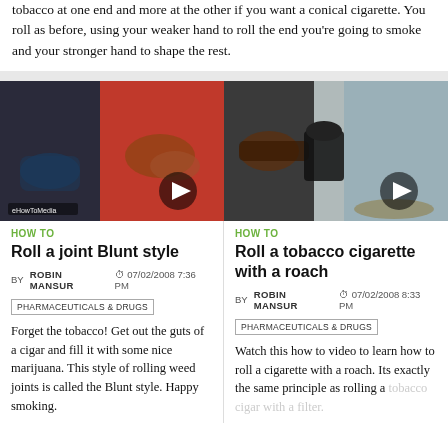tobacco at one end and more at the other if you want a conical cigarette. You roll as before, using your weaker hand to roll the end you're going to smoke and your stronger hand to shape the rest.
[Figure (screenshot): Video thumbnail showing hands rolling a joint/blunt style with a red background, with a play button overlay]
HOW TO
Roll a joint Blunt style
BY ROBIN MANSUR  07/02/2008 7:36 PM
PHARMACEUTICALS & DRUGS
Forget the tobacco! Get out the guts of a cigar and fill it with some nice marijuana. This style of rolling weed joints is called the Blunt style. Happy smoking.
[Figure (screenshot): Video thumbnail showing hands with a cigarette rolling machine, with a play button overlay]
HOW TO
Roll a tobacco cigarette with a roach
BY ROBIN MANSUR  07/02/2008 8:33 PM
PHARMACEUTICALS & DRUGS
Watch this how to video to learn how to roll a cigarette with a roach. Its exactly the same principle as rolling a tobacco cigar with a filter.